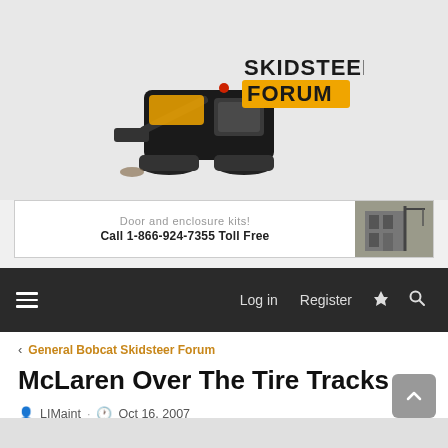[Figure (logo): Skidsteer Forum logo with illustrated black and yellow skid steer loader and text SKIDSTEER FORUM]
[Figure (infographic): Advertisement banner: Door and enclosure kits! Call 1-866-924-7355 Toll Free, with image of construction equipment on right]
Log in  Register
General Bobcat Skidsteer Forum
McLaren Over The Tire Tracks
LIMaint · Oct 16, 2007